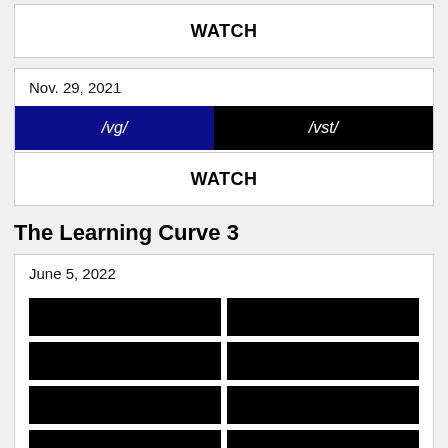WATCH
Nov. 29, 2021
[Figure (infographic): Two-segment bar: left dark blue '/vg/', right black '/vst/']
WATCH
The Learning Curve 3
June 5, 2022
[Figure (infographic): Grid of black rectangular blocks in 2 columns, 4 rows visible]